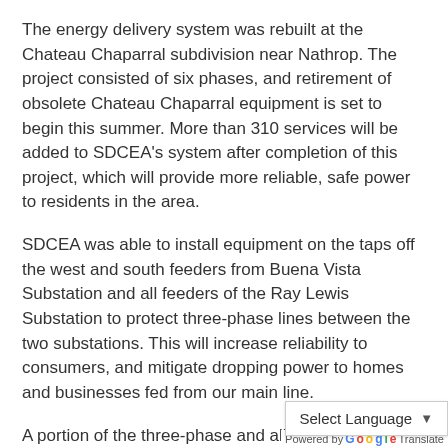The energy delivery system was rebuilt at the Chateau Chaparral subdivision near Nathrop. The project consisted of six phases, and retirement of obsolete Chateau Chaparral equipment is set to begin this summer. More than 310 services will be added to SDCEA's system after completion of this project, which will provide more reliable, safe power to residents in the area.
SDCEA was able to install equipment on the taps off the west and south feeders from Buena Vista Substation and all feeders of the Ray Lewis Substation to protect three-phase lines between the two substations. This will increase reliability to consumers, and mitigate dropping power to homes and businesses fed from our main line.
A portion of the three-phase and all of the single-phase going to St. Elmo in conjunction with Co Telecom was rebuilt, for a total of 12.5 miles, again